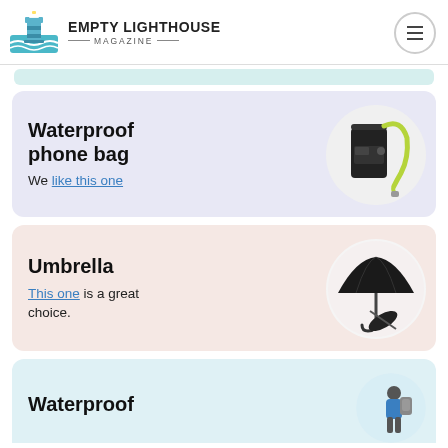EMPTY LIGHTHOUSE MAGAZINE
[Figure (illustration): Waterproof phone bag product image - black case with yellow-green lanyard strap, shown in a white circle]
Waterproof phone bag
We like this one
[Figure (illustration): Umbrella product image - black folding umbrella open and collapsed, shown in a white circle]
Umbrella
This one is a great choice.
Waterproof